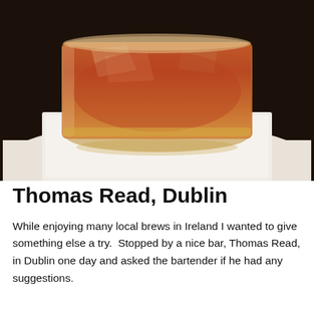[Figure (photo): Close-up photograph of an amber/orange cocktail or whiskey drink in a rocks glass with ice, sitting on a white paper napkin against a dark background.]
Thomas Read, Dublin
While enjoying many local brews in Ireland I wanted to give something else a try.  Stopped by a nice bar, Thomas Read, in Dublin one day and asked the bartender if he had any suggestions.